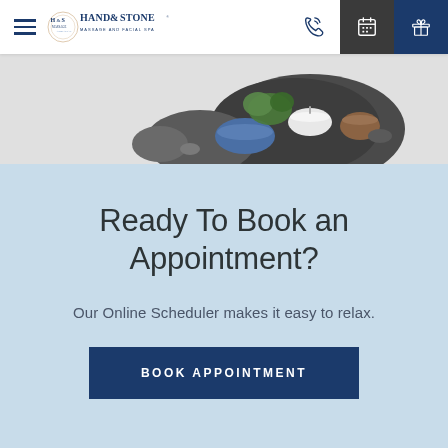Hand & Stone Massage and Facial Spa — navigation bar with logo, phone, calendar, and gift icons
[Figure (photo): Spa items including stones, candles, and a bowl on a neutral background]
Ready To Book an Appointment?
Our Online Scheduler makes it easy to relax.
BOOK APPOINTMENT